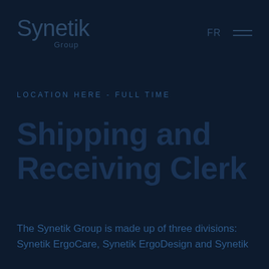Synetik Group
LOCATION HERE - FULL TIME
Shipping and Receiving Clerk
The Synetik Group is made up of three divisions: Synetik ErgoCare, Synetik ErgoDesign and Synetik